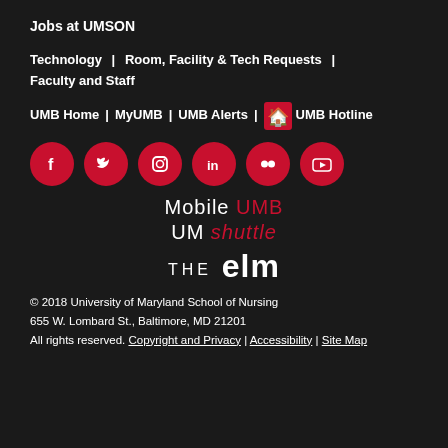Jobs at UMSON
Technology | Room, Facility & Tech Requests | Faculty and Staff
UMB Home | MyUMB | UMB Alerts | UMB Hotline
[Figure (illustration): Row of six red circular social media icons: Facebook, Twitter, Instagram, LinkedIn, Flickr, YouTube]
[Figure (logo): Mobile UMB logo with 'Mobile' in white and 'UMB' in red]
[Figure (logo): UM shuttle logo with 'UM' in white and 'shuttle' in red italic]
[Figure (logo): THE elm logo in white serif text]
© 2018 University of Maryland School of Nursing
655 W. Lombard St., Baltimore, MD 21201
All rights reserved. Copyright and Privacy | Accessibility | Site Map